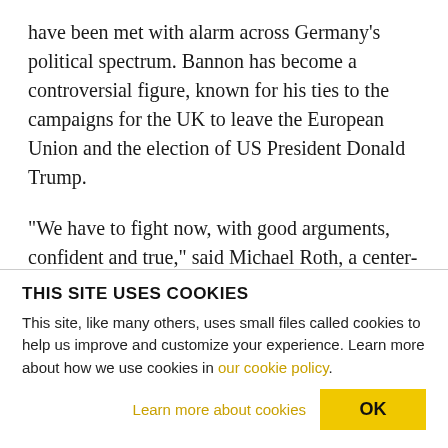have been met with alarm across Germany's political spectrum. Bannon has become a controversial figure, known for his ties to the campaigns for the UK to leave the European Union and the election of US President Donald Trump.
“We have to fight now, with good arguments, confident and true,” said Michael Roth, a center-left Social Democratic (SPD) lawmaker and minister of state for Europe in an interview with Die Welt newspaper.
THIS SITE USES COOKIES
This site, like many others, uses small files called cookies to help us improve and customize your experience. Learn more about how we use cookies in our cookie policy.
Learn more about cookies   OK